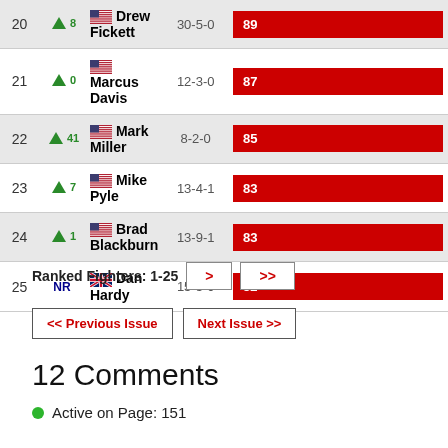| Rank | Change | Fighter | Record | Score |
| --- | --- | --- | --- | --- |
| 20 | ▲8 | Drew Fickett | 30-5-0 | 89 |
| 21 | ▲0 | Marcus Davis | 12-3-0 | 87 |
| 22 | ▲41 | Mark Miller | 8-2-0 | 85 |
| 23 | ▲7 | Mike Pyle | 13-4-1 | 83 |
| 24 | ▲1 | Brad Blackburn | 13-9-1 | 83 |
| 25 | NR | Dan Hardy | 15-5-0 | 82 |
Ranked Fighters: 1-25 > >>
<< Previous Issue  Next Issue >>
12 Comments
Active on Page: 151